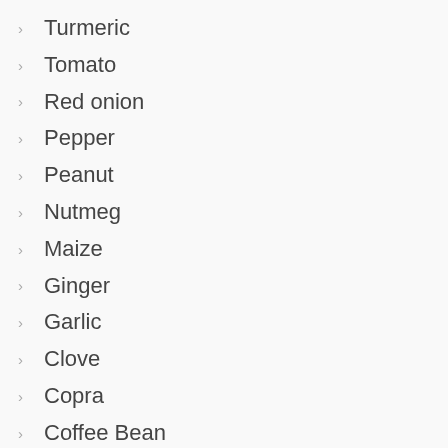Turmeric
Tomato
Red onion
Pepper
Peanut
Nutmeg
Maize
Ginger
Garlic
Clove
Copra
Coffee Bean
Cocoa bean